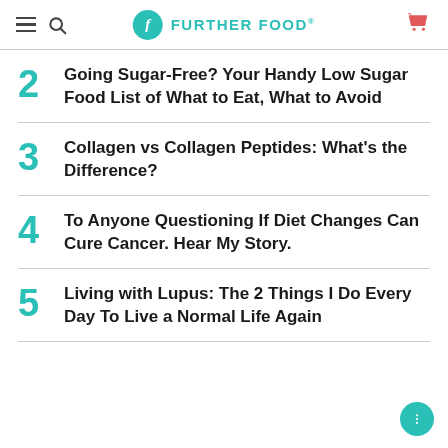FURTHER FOOD®
2 Going Sugar-Free? Your Handy Low Sugar Food List of What to Eat, What to Avoid
3 Collagen vs Collagen Peptides: What's the Difference?
4 To Anyone Questioning If Diet Changes Can Cure Cancer. Hear My Story.
5 Living with Lupus: The 2 Things I Do Every Day To Live a Normal Life Again